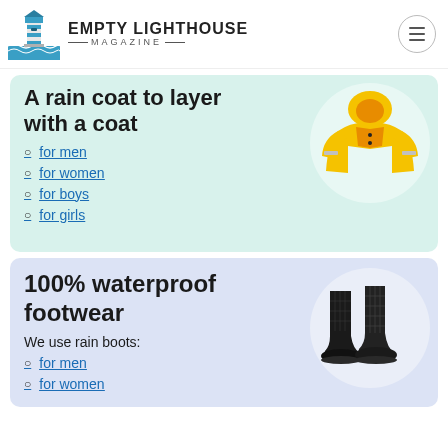EMPTY LIGHTHOUSE MAGAZINE
A rain coat to layer with a coat
for men
for women
for boys
for girls
[Figure (photo): Yellow children's rain jacket/coat]
100% waterproof footwear
We use rain boots:
for men
for women
[Figure (photo): Black rubber rain boots / wellington boots]